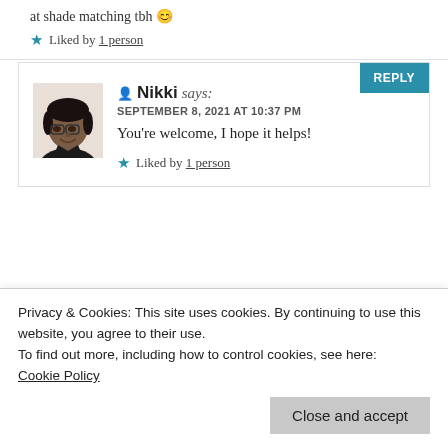at shade matching tbh 😊
★ Liked by 1 person
REPLY
[Figure (photo): Profile photo of Nikki, a Black woman with glasses and short hair, wearing a dark top]
Nikki says:
SEPTEMBER 8, 2021 AT 10:37 PM
You're welcome, I hope it helps!
★ Liked by 1 person
REPLY
[Figure (photo): Colorful avatar image with blue/purple gradient]
Privacy & Cookies: This site uses cookies. By continuing to use this website, you agree to their use.
To find out more, including how to control cookies, see here:
Cookie Policy
Close and accept